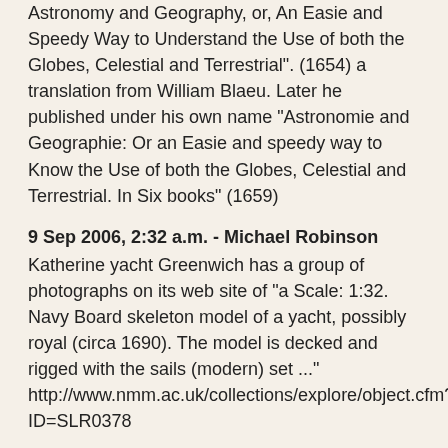Astronomy and Geography, or, An Easie and Speedy Way to Understand the Use of both the Globes, Celestial and Terrestrial". (1654) a translation from William Blaeu. Later he published under his own name “Astronomie and Geographie: Or an Easie and speedy way to Know the Use of both the Globes, Celestial and Terrestrial. In Six books” (1659)
9 Sep 2006, 2:32 a.m. - Michael Robinson
Katherine yacht Greenwich has a group of photographs on its web site of "a Scale: 1:32. Navy Board skeleton model of a yacht, possibly royal (circa 1690). The model is decked and rigged with the sails (modern) set ..." http://www.nmm.ac.uk/collections/explore/object.cfm?ID=SLR0378
9 Sep 2006, 2:40 a.m. - Robert Gertz
Six months later... "Ridiculous..." Sam waves a casual hand. "Sam'l, I've done the observations and calculations five times." "My dear Mrs. Pepys. Everybody knows there are six planets to Mercury... For the Moon, it seems...